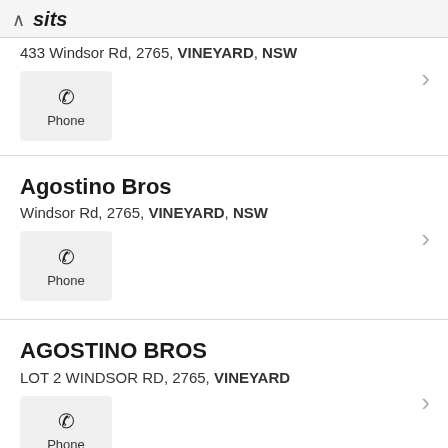sits
433 Windsor Rd, 2765, VINEYARD, NSW
Phone
Agostino Bros
Windsor Rd, 2765, VINEYARD, NSW
Phone
AGOSTINO BROS
LOT 2 WINDSOR RD, 2765, VINEYARD
Phone